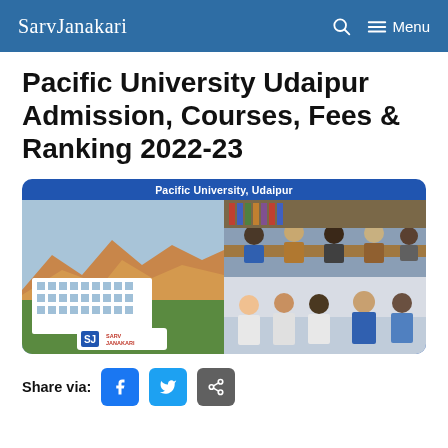SarvJanakari
Pacific University Udaipur Admission, Courses, Fees & Ranking 2022-23
[Figure (photo): Composite image banner for Pacific University, Udaipur showing campus building with mountains in background, students studying at a table, and students in a lab/classroom setting. Branded with SarvJanakari logo.]
Share via: